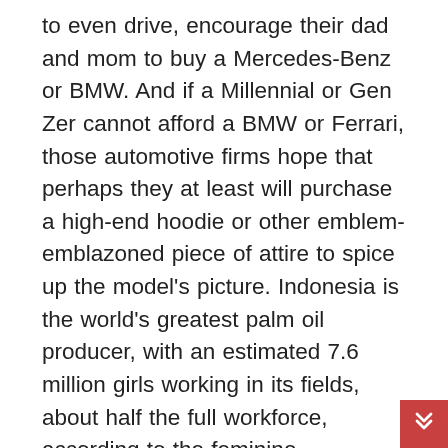to even drive, encourage their dad and mom to buy a Mercedes-Benz or BMW. And if a Millennial or Gen Zer cannot afford a BMW or Ferrari, those automotive firms hope that perhaps they at least will purchase a high-end hoodie or other emblem-emblazoned piece of attire to spice up the model's picture. Indonesia is the world's greatest palm oil producer, with an estimated 7.6 million girls working in its fields, about half the full workforce, according to the feminine empowerment ministry. In much-smaller Malaysia, the figures are more durable to nail down due to the large variety of overseas migrants working off the books. Typical aviator a pair of glasses comprise a black color titanium framework together with sterling silver refractive a lot better listings. There are many extra modern designs and in